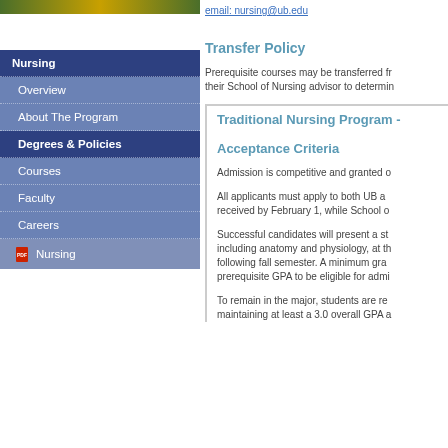email: nursing@ub.edu
Transfer Policy
Prerequisite courses may be transferred fr... their School of Nursing advisor to determin...
Traditional Nursing Program -
Acceptance Criteria
Admission is competitive and granted o...
All applicants must apply to both UB a... received by February 1, while School o...
Successful candidates will present a st... including anatomy and physiology, at th... following fall semester. A minimum gra... prerequisite GPA to be eligible for admi...
To remain in the major, students are re... maintaining at least a 3.0 overall GPA a...
Nursing
Overview
About The Program
Degrees & Policies
Courses
Faculty
Careers
Nursing